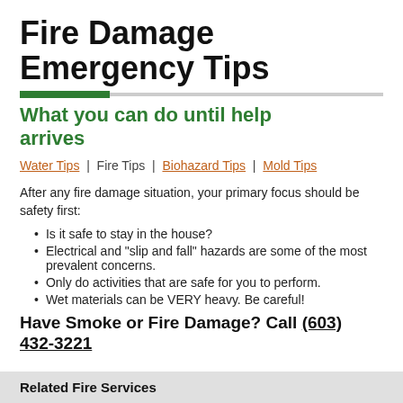Fire Damage Emergency Tips
What you can do until help arrives
Water Tips  |  Fire Tips  |  Biohazard Tips  |  Mold Tips
After any fire damage situation, your primary focus should be safety first:
Is it safe to stay in the house?
Electrical and "slip and fall" hazards are some of the most prevalent concerns.
Only do activities that are safe for you to perform.
Wet materials can be VERY heavy. Be careful!
Have Smoke or Fire Damage? Call (603) 432-3221
Related Fire Services